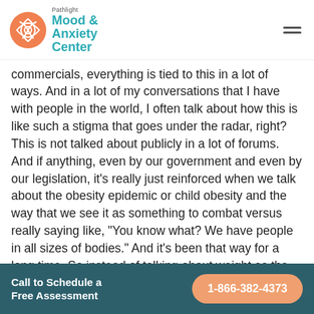Pathlight Mood & Anxiety Center
commercials, everything is tied to this in a lot of ways. And in a lot of my conversations that I have with people in the world, I often talk about how this is like such a stigma that goes under the radar, right? This is not talked about publicly in a lot of forums. And if anything, even by our government and even by our legislation, it's really just reinforced when we talk about the obesity epidemic or child obesity and the way that we see it as something to combat versus really saying like, "You know what? We have people in all sizes of bodies." And it's been that way for a long time. So instead of talking about weight as the issue, let's talk about increasing people's access to health behaviors, which really leads
Call to Schedule a Free Assessment  1-866-382-4373